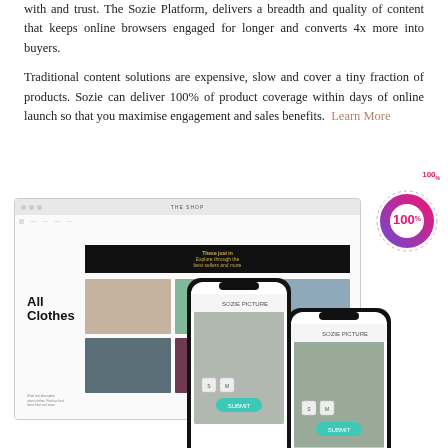with and trust. The Sozie Platform, delivers a breadth and quality of content that keeps online browsers engaged for longer and converts 4x more into buyers.
Traditional content solutions are expensive, slow and cover a tiny fraction of products. Sozie can deliver 100% of product coverage within days of online launch so that you maximise engagement and sales benefits. Learn More
[Figure (screenshot): Screenshot of an e-commerce website 'The Shop' showing product listings including 'All Clothes' section with fashion product images, overlaid with two smartphone mockups showing a mobile app interface. A donut chart showing 100% is positioned in the upper right.]